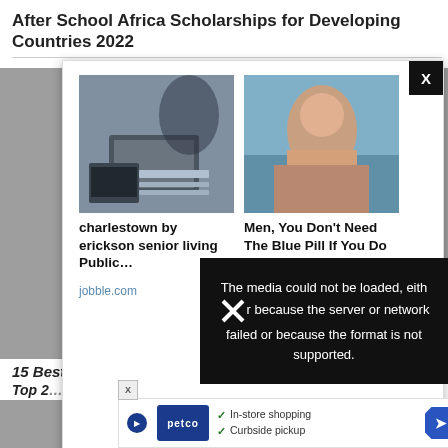After School Africa Scholarships for Developing Countries 2022
[Figure (screenshot): Advertisement modal popup showing two ad cards side by side. Left card shows a woman working at a desk with a laptop and calculator, titled 'charlestown by erickson senior living Public…' from jobble.com. Right card shows a woman relaxing, titled 'Men, You Don't Need The Blue Pill If You Do This…' from iamhealth.life. Modal has a black X close button in top-right corner.]
[Figure (screenshot): Video player error overlay with black background showing text: 'The media could not be loaded, either because the server or network failed or because the format is not supported.' with an X icon overlay. A grey circular X close button appears to the right.]
15 Best Online Adobe Illustra…
Top 2…
[Figure (screenshot): Petco advertisement banner showing logo, checkmarks for 'In-store shopping' and 'Curbside pickup', and a blue diamond navigation arrow. Has a small X dismiss button and a play button.]